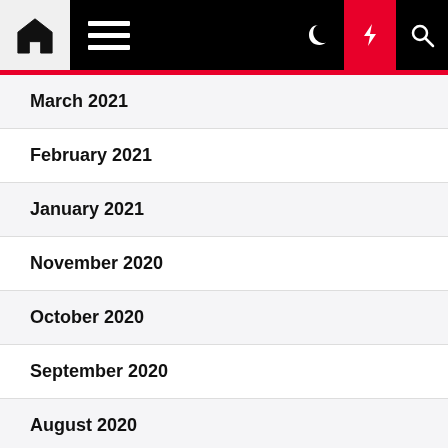Navigation bar with home, menu, dark mode, lightning, and search icons
March 2021
February 2021
January 2021
November 2020
October 2020
September 2020
August 2020
July 2020
June 2020